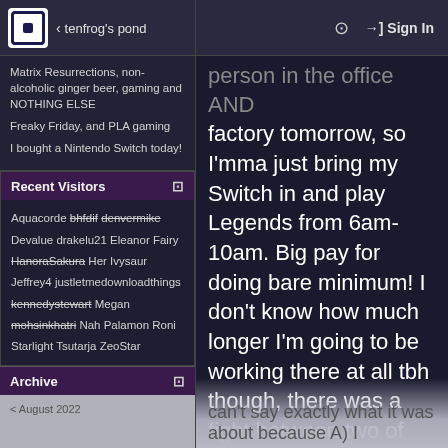tenfrog's pond
Matrix Resurrections, non-alcoholic ginger beer, gaming and NOTHING ELSE
Freaky Friday, and PLA gaming
I bought a Nintendo Switch today!
Recent Visitors
Aquacorde  bhfdif  denvermike  Devalue  drakelu21  Eleanor  Fairy  HanoraSakura  Her  Ivysaur  Jeffrey4  justletmedownloadthings  kennedystewart  Megan  mohsinkhatri  Nah  Palamon  Roni  Starlight  Tsutarja  ZeoStar
Archive
< August 2022
person in the office AND factory tomorrow, so I'mma just bring my Switch in and play Legends from 6am-10am. Big pay for doing bare minimum! I don't know how much longer I'm going to be working there at all tbh though, there was a fight between two of the factory workers today that spilled into the car park and was visible and audible from the office. I can't say exactly what it was about because A) I